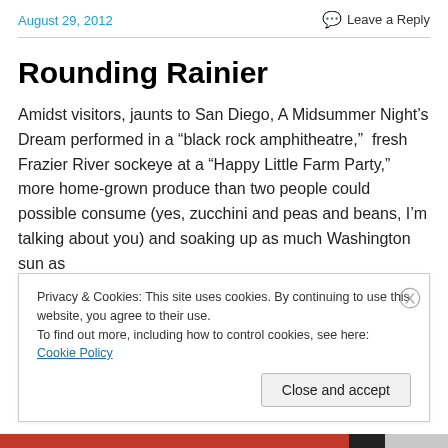August 29, 2012
Leave a Reply
Rounding Rainier
Amidst visitors, jaunts to San Diego, A Midsummer Night’s Dream performed in a “black rock amphitheatre,”  fresh Frazier River sockeye at a “Happy Little Farm Party,” more home-grown produce than two people could possible consume (yes, zucchini and peas and beans, I’m talking about you) and soaking up as much Washington sun as
Privacy & Cookies: This site uses cookies. By continuing to use this website, you agree to their use.
To find out more, including how to control cookies, see here: Cookie Policy
Close and accept